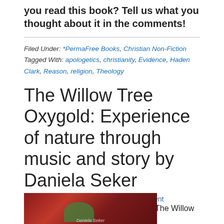you read this book? Tell us what you thought about it in the comments!
Filed Under: *PermaFree Books, Christian Non-Fiction
Tagged With: apologetics, christianity, Evidence, Haden Clark, Reason, religion, Theology
The Willow Tree Oxygold: Experience of nature through music and story by Daniela Seker
By Bargain Book Lover — Leave a Comment
[Figure (photo): Book cover image — red background with illustration, author name Daniela Seker at bottom]
The Willow